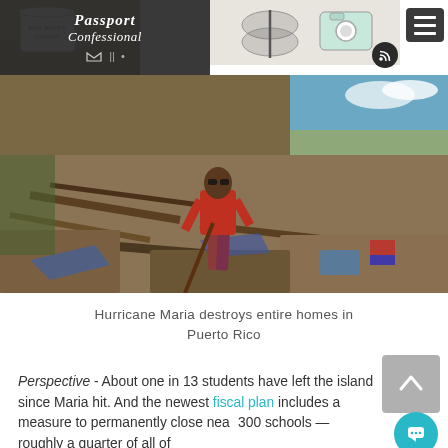Passport Confessional
[Figure (photo): Person standing amid debris and destruction from Hurricane Maria in Puerto Rico. Ruins of destroyed buildings and scattered wreckage visible across a hillside.]
Hurricane Maria destroys entire homes in Puerto Rico
Perspective - About one in 13 students have left the island since Maria hit. And the newest fiscal plan includes a measure to permanently close near 300 schools — roughly a quarter of all of